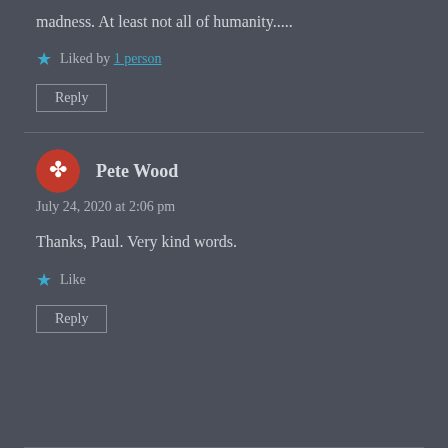madness. At least not all of humanity.....
★ Liked by 1 person
Reply
Pete Wood
July 24, 2020 at 2:06 pm
Thanks, Paul. Very kind words.
★ Like
Reply